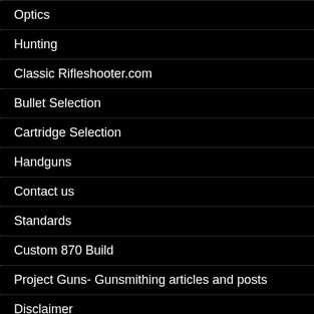Optics
Hunting
Classic Rifleshooter.com
Bullet Selection
Cartridge Selection
Handguns
Contact us
Standards
Custom 870 Build
Project Guns- Gunsmithing articles and posts
Disclaimer
Rifles
Reviews
Gunsmithing